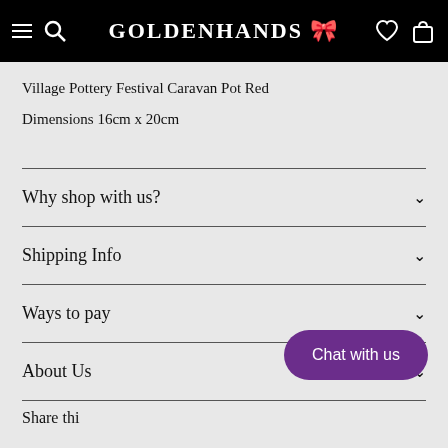GOLDENHANDS
Village Pottery Festival Caravan Pot Red
Dimensions 16cm x 20cm
Why shop with us?
Shipping Info
Ways to pay
About Us
Chat with us
Share thi…